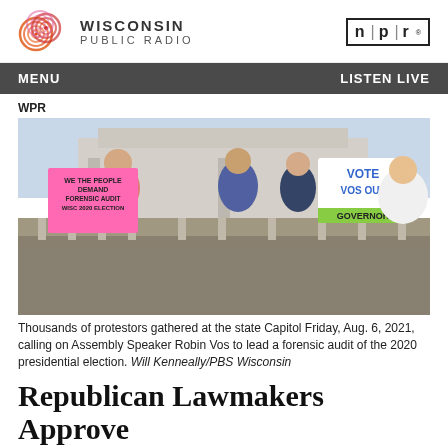WISCONSIN PUBLIC RADIO | npr
MENU | LISTEN LIVE
WPR
[Figure (photo): Protesters standing at a balcony outside a capitol building, holding signs. One pink sign reads 'WE THE PEOPLE DEMAND FORENSIC AUDIT WISC 2020 ELECTION' and a white/blue sign reads 'VOTE VOS OUT GOVERNOR'.]
Thousands of protestors gathered at the state Capitol Friday, Aug. 6, 2021, calling on Assembly Speaker Robin Vos to lead a forensic audit of the 2020 presidential election. Will Kenneally/PBS Wisconsin
Republican Lawmakers Approve